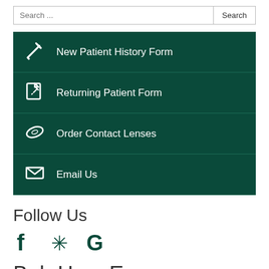Search ...
New Patient History Form
Returning Patient Form
Order Contact Lenses
Email Us
Follow Us
[Figure (infographic): Social media icons: Facebook (f), Yelp (asterisk/flower), Google (G) in dark green]
Bob Ham Eyewear
9965-24 San Jose Blvd